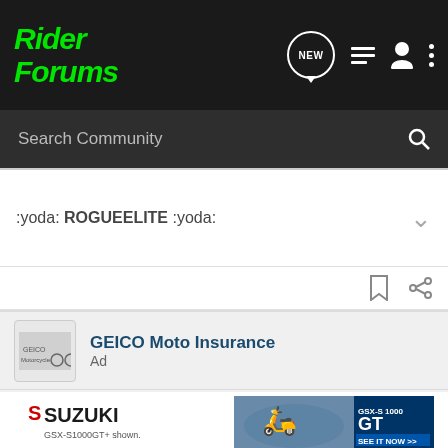Rider Forums
Search Community
:yoda: ROGUEELITE :yoda:
GEICO Moto Insurance
Ad
GEICO. 15 minutes could save you 15% or more on motorcycle insurance, too.
Shopping for a new bike? You could get a shiny, new quote & see how much you could save.
[Figure (advertisement): Suzuki GSX-S1000GT advertisement banner with motorcycle and GSX-S 1000 GT branding with SEE IT NOW button]